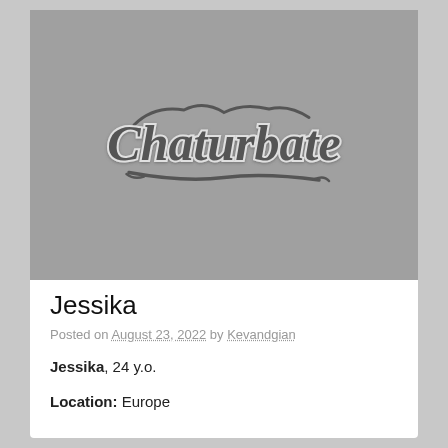[Figure (logo): Chaturbate logo on grey background]
Jessika
Posted on August 23, 2022 by Kevandgian
Jessika, 24 y.o.
Location: Europe